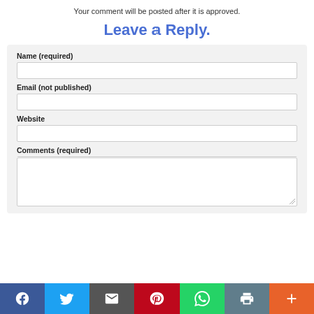Your comment will be posted after it is approved.
Leave a Reply.
Name (required)
Email (not published)
Website
Comments (required)
[Figure (infographic): Social sharing bar with icons for Facebook, Twitter, Email, Pinterest, WhatsApp, Print, and More (+)]